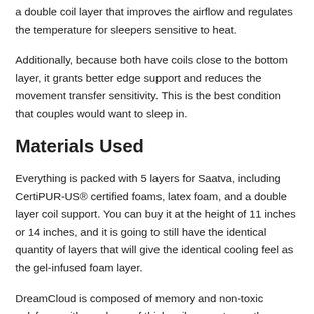a double coil layer that improves the airflow and regulates the temperature for sleepers sensitive to heat.
Additionally, because both have coils close to the bottom layer, it grants better edge support and reduces the movement transfer sensitivity. This is the best condition that couples would want to sleep in.
Materials Used
Everything is packed with 5 layers for Saatva, including CertiPUR-US® certified foams, latex foam, and a double layer coil support. You can buy it at the height of 11 inches or 14 inches, and it is going to still have the identical quantity of layers that will give the identical cooling feel as the gel-infused foam layer.
DreamCloud is composed of memory and non-toxic polyfoam with one layer of thick coil support near the bottom. Similar to Saatva, the minimum chief goal areformulations that demonstrate joint...